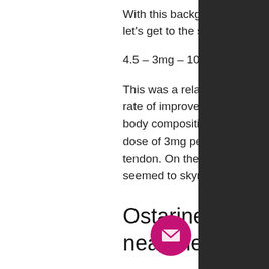With this background out of your system, let's get to the studies…
4.5 – 3mg – 10mg – 15mg
This was a relatively long-term study, and while it did find some benefit the overall rate of improvement (i, mk 2866 tendon.e, mk 2866 tendon. strength, power and body composition) wasn't much above the standard placebo effect from a single dose of 3mg per day (in terms of strength, speed and power output), mk 2866 tendon. On the other hand, the rate of improvement of endurance performance seemed to skyrocket, which was of interest.
Ostarine mk-2866 for s near me